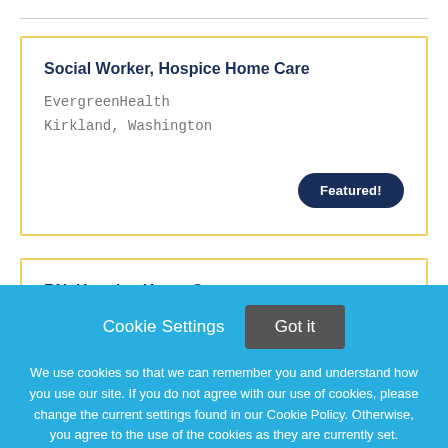Social Worker, Hospice Home Care
EvergreenHealth
Kirkland, Washington
Featured!
RN, Hospice Home Care
Cookie Settings
Got it
We use cookies so that we can remember you and understand how you use our site. If you do not agree with our use of cookies, please change the current settings found in our Cookie Policy. Otherwise, you agree to the use of the cookies as they are currently set.